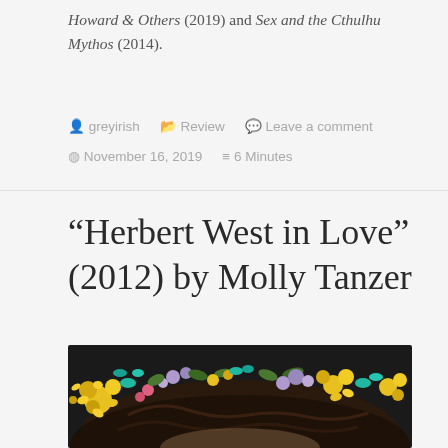Howard & Others (2019) and Sex and the Cthulhu Mythos (2014).
greyirish   Review   Leave a comment   November 16, 2019   6 Minutes
“Herbert West in Love” (2012) by Molly Tanzer
[Figure (photo): Photo of a person with dark hair wearing a floral crown made of yellow, pink, purple, and teal flowers against a dark background.]